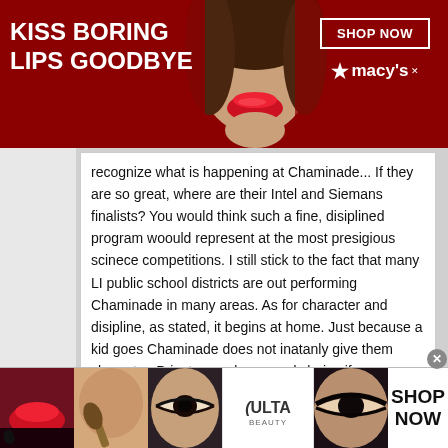[Figure (photo): Top advertisement banner: dark red background with white bold text 'KISS BORING LIPS GOODBYE', a woman's face with red lipstick in center, and Macy's logo with 'SHOP NOW' button on right side]
recognize what is happening at Chaminade... If they are so great, where are their Intel and Siemans finalists? You would think such a fine, disiplined program woould represent at the most presigious scinece competitions. I still stick to the fact that many LI public school districts are out performing Chaminade in many areas. As for character and disipline, as stated, it begins at home. Just because a kid goes Chaminade does not inatanly give them character. Private may be a good choice if you come from a medocre district, but otherwise a waste of money.
Choosing a Catholic education is a personal descision
[Figure (photo): Bottom advertisement bar: Ulta Beauty ad with makeup/beauty photos and 'SHOP NOW' text]